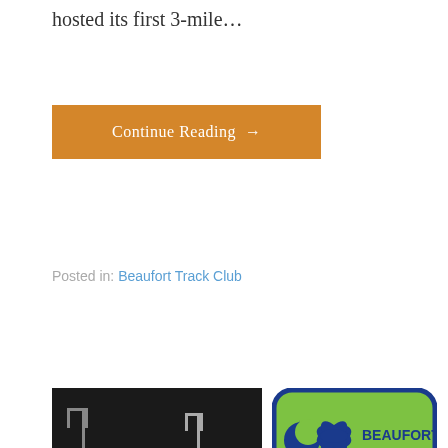hosted its first 3-mile…
Continue Reading →
Posted in: Beaufort Track Club
[Figure (photo): Person in green jacket performing massage on a table on a running track at night, with football goalposts in background.]
[Figure (logo): Beaufort Athletic Club, LLC logo — green rounded rectangle with blue border, South Carolina palmetto and crescent moon icon, text: BEAUFORT ATHLETIC CLUB, LLC]
Beaufort Athletic Club
1115 Boundary St · Beaufort SC 29906
843-521-7933 BeaufortAthleticClub.com
Trainer Spotlight Daniel